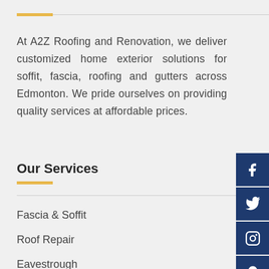At A2Z Roofing and Renovation, we deliver customized home exterior solutions for soffit, fascia, roofing and gutters across Edmonton. We pride ourselves on providing quality services at affordable prices.
Our Services
Fascia & Soffit
Roof Repair
Eavestrough
Siding